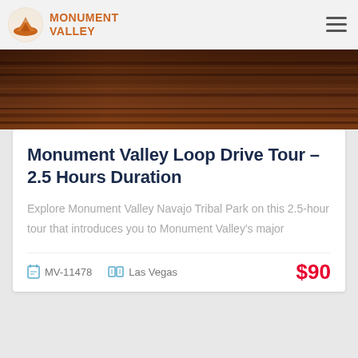MONUMENT VALLEY
[Figure (photo): Red rock canyon layered stone landscape hero image — Monument Valley red sandstone formation]
Monument Valley Loop Drive Tour - 2.5 Hours Duration
Explore Monument Valley Navajo Tribal Park on this 2.5-hour tour that introduces you to Monument Valley's major
MV-11478   Las Vegas   $90